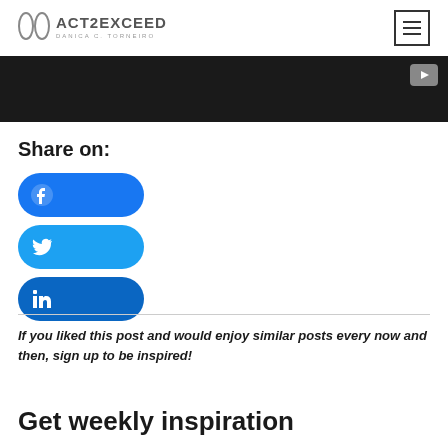ACT2EXCEED
[Figure (screenshot): Black video player bar with YouTube play button icon in top-right corner]
Share on:
[Figure (infographic): Three social share buttons: Facebook (blue rounded pill), Twitter (light blue rounded pill), LinkedIn (dark blue rounded pill)]
If you liked this post and would enjoy similar posts every now and then, sign up to be inspired!
Get weekly inspiration